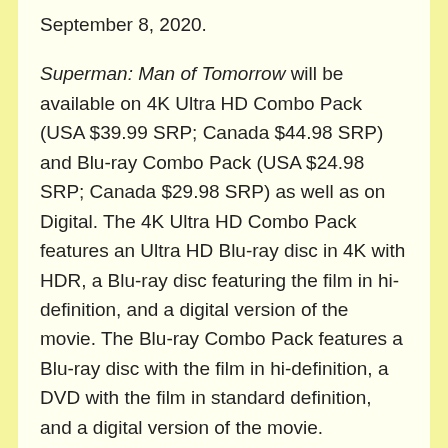September 8, 2020.
Superman: Man of Tomorrow will be available on 4K Ultra HD Combo Pack (USA $39.99 SRP; Canada $44.98 SRP) and Blu-ray Combo Pack (USA $24.98 SRP; Canada $29.98 SRP) as well as on Digital. The 4K Ultra HD Combo Pack features an Ultra HD Blu-ray disc in 4K with HDR, a Blu-ray disc featuring the film in hi-definition, and a digital version of the movie. The Blu-ray Combo Pack features a Blu-ray disc with the film in hi-definition, a DVD with the film in standard definition, and a digital version of the movie.
It's the dawn of a new age of heroes, and Metropolis has just met its first. But as Daily Planet intern Clark Kent – working alongside reporter Lois Lane – secretly wields his alien powers of flight, super-strength and x-ray vision in the battle for good, there's even greater trouble on the horizon. Follow the budding hero as he engages in bloody battles with intergalactic bounty